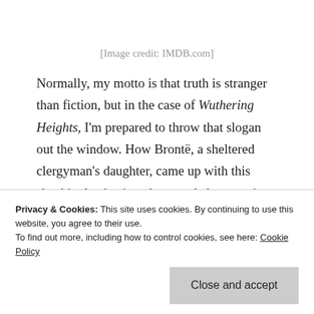[Image credit: IMDB.com]
Normally, my motto is that truth is stranger than fiction, but in the case of Wuthering Heights, I'm prepared to throw that slogan out the window. How Brontë, a sheltered clergyman's daughter, came up with this shockingly abusive, demented character is beyond me. Moreover, she decided to pair him with
Privacy & Cookies: This site uses cookies. By continuing to use this website, you agree to their use. To find out more, including how to control cookies, see here: Cookie Policy
which point, she is already married to her other